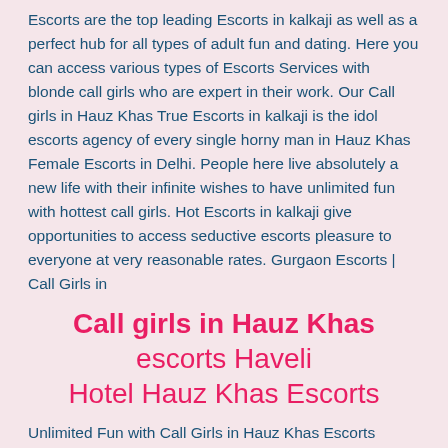Escorts are the top leading Escorts in kalkaji as well as a perfect hub for all types of adult fun and dating. Here you can access various types of Escorts Services with blonde call girls who are expert in their work. Our Call girls in Hauz Khas True Escorts in kalkaji is the idol escorts agency of every single horny man in Hauz Khas Female Escorts in Delhi. People here live absolutely a new life with their infinite wishes to have unlimited fun with hottest call girls. Hot Escorts in kalkaji give opportunities to access seductive escorts pleasure to everyone at very reasonable rates. Gurgaon Escorts | Call Girls in
Call girls in Hauz Khas escorts Haveli Hotel Hauz Khas Escorts
Unlimited Fun with Call Girls in Hauz Khas Escorts Service Here at Independent Escorts Service in Hauz Khas, you will meet with Delhi Escorts most gorgeous and adorable Call Girls in Hauz Khas. Our Call Girls are well educated and well trained by professionals. They know each way to make your more excited and horny and then they will